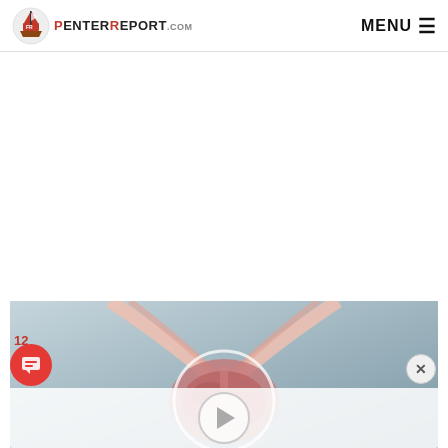PenterReport.com | MENU
[Figure (photo): Medical anatomy illustration showing cross-section of prostate and bladder, with a video play button overlay and chat icon badge showing 12 notifications]
[Figure (illustration): Close button (X) in bottom right corner of video thumbnail]